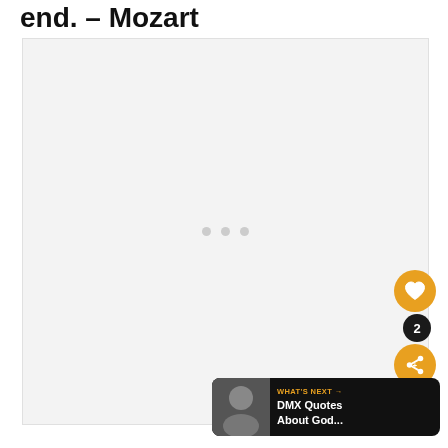end. – Mozart
[Figure (other): Large light grey placeholder image box with three small grey dots (loading indicator) in the center]
[Figure (other): Orange circular like/heart button, black circular badge with number 2, orange circular share button with share icon]
[Figure (other): What's Next banner: black rounded rectangle with a thumbnail photo on the left, orange WHAT'S NEXT arrow label, and white text DMX Quotes About God...]